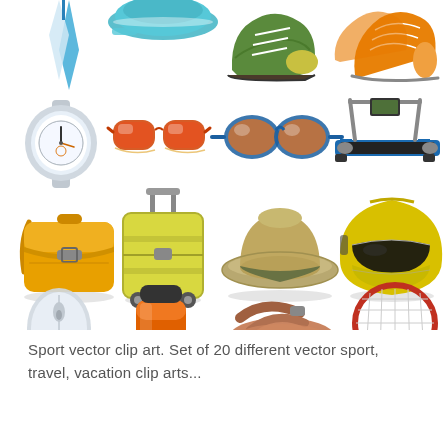[Figure (illustration): A 4x4 grid of sport, travel, and vacation vector clip art icons. Row 1 (partially cropped at top): necktie/scarf, baseball cap, hiking shoe, sneakers. Row 2: wristwatch, orange sunglasses, blue swimming goggles, treadmill. Row 3: yellow messenger bag, yellow rolling suitcase, panama hat, motorcycle helmet. Row 4 (partially cropped at bottom): computer mouse, thermos/water bottle, sandal, tennis racket.]
Sport vector clip art. Set of 20 different vector sport, travel, vacation clip arts...